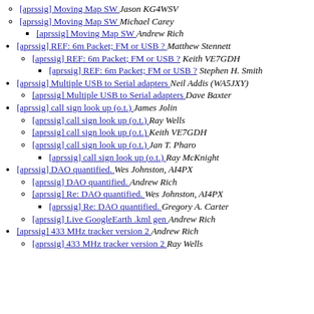[aprssig] Moving Map SW  Jason KG4WSV
[aprssig] Moving Map SW  Michael Carey
[aprssig] Moving Map SW  Andrew Rich
[aprssig] REF: 6m Packet; FM or USB ?  Matthew Stennett
[aprssig] REF: 6m Packet; FM or USB ?  Keith VE7GDH
[aprssig] REF: 6m Packet; FM or USB ?  Stephen H. Smith
[aprssig] Multiple USB to Serial adapters  Neil Addis (WA5JXY)
[aprssig] Multiple USB to Serial adapters  Dave Baxter
[aprssig] call sign look up (o.t.)  James Jolin
[aprssig] call sign look up (o.t.)  Ray Wells
[aprssig] call sign look up (o.t.)  Keith VE7GDH
[aprssig] call sign look up (o.t.)  Jan T. Pharo
[aprssig] call sign look up (o.t.)  Ray McKnight
[aprssig] DAO quantified.  Wes Johnston, AI4PX
[aprssig] DAO quantified.  Andrew Rich
[aprssig] Re: DAO quantified.  Wes Johnston, AI4PX
[aprssig] Re: DAO quantified.  Gregory A. Carter
[aprssig] Live GoogleEarth .kml gen  Andrew Rich
[aprssig] 433 MHz tracker version 2  Andrew Rich
[aprssig] 433 MHz tracker version 2  Ray Wells